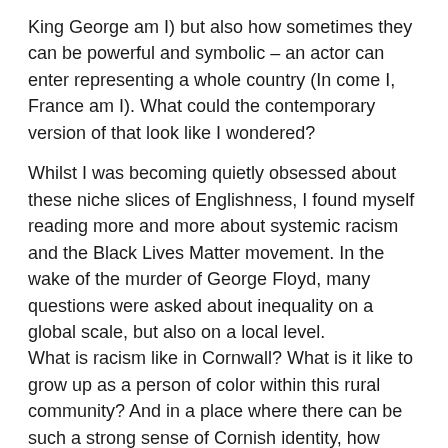King George am I) but also how sometimes they can be powerful and symbolic – an actor can enter representing a whole country (In come I, France am I). What could the contemporary version of that look like I wondered?
Whilst I was becoming quietly obsessed about these niche slices of Englishness, I found myself reading more and more about systemic racism and the Black Lives Matter movement. In the wake of the murder of George Floyd, many questions were asked about inequality on a global scale, but also on a local level.
What is racism like in Cornwall? What is it like to grow up as a person of color within this rural community? And in a place where there can be such a strong sense of Cornish identity, how inclusive really are the Cornish?
This led me to read more about race in Britain, slavery and colonialism. One thing that really struck me during this research is how little I was taught about The British Empire at school. We learnt about the slave trade, the abolitionists and